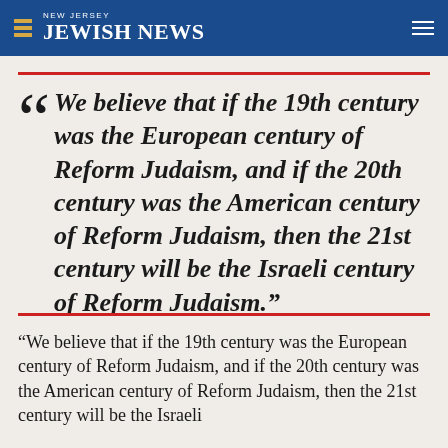NEW JERSEY JEWISH NEWS
“We believe that if the 19th century was the European century of Reform Judaism, and if the 20th century was the American century of Reform Judaism, then the 21st century will be the Israeli century of Reform Judaism.”
“We believe that if the 19th century was the European century of Reform Judaism, and if the 20th century was the American century of Reform Judaism, then the 21st century will be the Israeli